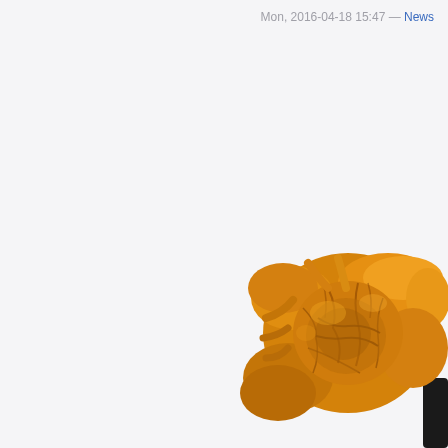Mon, 2016-04-18 15:47 — News
[Figure (photo): Close-up of an orange marigold flower head on a stem, appearing in the lower-right corner of the page against a light gray-white background.]